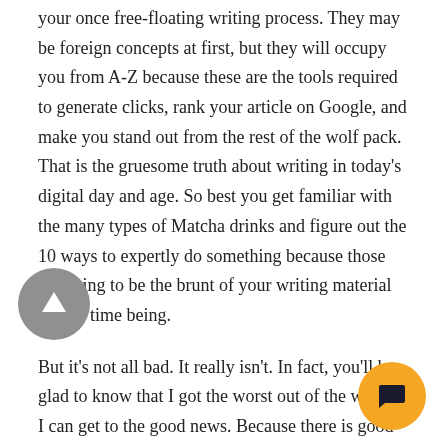your once free-floating writing process. They may be foreign concepts at first, but they will occupy you from A-Z because these are the tools required to generate clicks, rank your article on Google, and make you stand out from the rest of the wolf pack. That is the gruesome truth about writing in today's digital day and age. So best you get familiar with the many types of Matcha drinks and figure out the 10 ways to expertly do something because those are going to be the brunt of your writing material for the time being.
But it's not all bad. It really isn't. In fact, you'll be glad to know that I got the worst out of the way so I can get to the good news. Because there is good news. And the good news is this: you're writing. You're getting paid for it, and you're getting recognized. Just like with everything in life it involves money it also involves sacrifice. Writing is no...